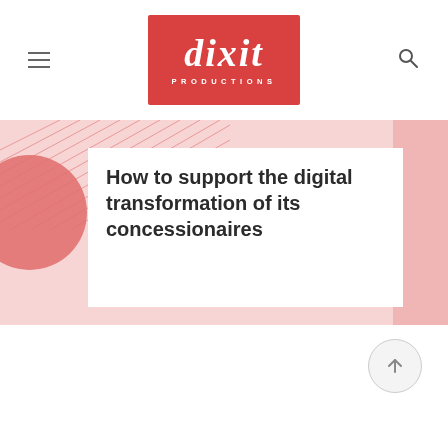dixit PRODUCTIONS
[Figure (logo): Dixit Productions logo — red rectangle with white italic 'dixit' text and 'PRODUCTIONS' subtitle]
How to support the digital transformation of its concessionaires